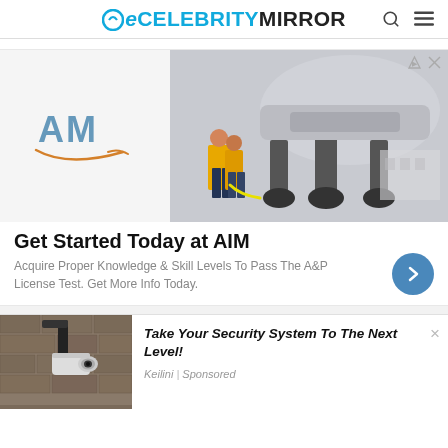eCELEBRITY MIRROR
[Figure (screenshot): Advertisement banner for AIM (Aviation Institute of Maintenance) showing AM logo on left and aircraft undercarriage with ground crew on right. Headline: Get Started Today at AIM. Body: Acquire Proper Knowledge & Skill Levels To Pass The A&P License Test. Get More Info Today.]
[Figure (screenshot): Second advertisement showing a security camera mounted on a wall. Title: Take Your Security System To The Next Level! Source: Keilini | Sponsored]